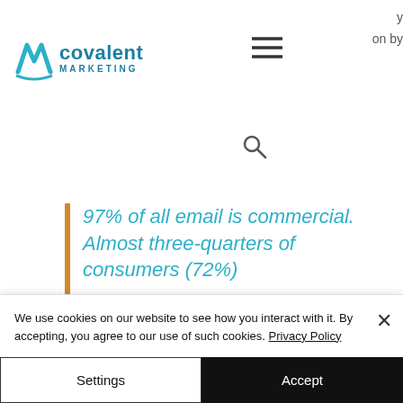[Figure (logo): Covalent Marketing logo with teal chevron/M icon and teal text]
[Figure (other): Hamburger menu icon (three horizontal lines) in dark]
y
on by
[Figure (other): Search/magnifying glass icon]
97% of all email is commercial. Almost three-quarters of consumers (72%)
We use cookies on our website to see how you interact with it. By accepting, you agree to our use of such cookies. Privacy Policy
Settings
Accept